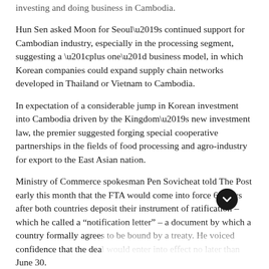investing and doing business in Cambodia.
Hun Sen asked Moon for Seoul’s continued support for Cambodian industry, especially in the processing segment, suggesting a “plus one” business model, in which Korean companies could expand supply chain networks developed in Thailand or Vietnam to Cambodia.
In expectation of a considerable jump in Korean investment into Cambodia driven by the Kingdom’s new investment law, the premier suggested forging special cooperative partnerships in the fields of food processing and agro-industry for export to the East Asian nation.
Ministry of Commerce spokesman Pen Sovicheat told The Post early this month that the FTA would come into force 60 days after both countries deposit their instrument of ratification – which he called a “notification letter” – a document by which a country formally agrees to be bound by a treaty. He voiced confidence that the deal would enter into effect no later than June 30.